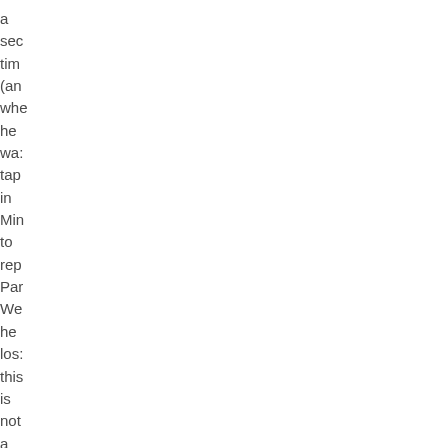a sec tim (an whe he wa: tap in Min to rep Par We he los: this is not a rea to vot